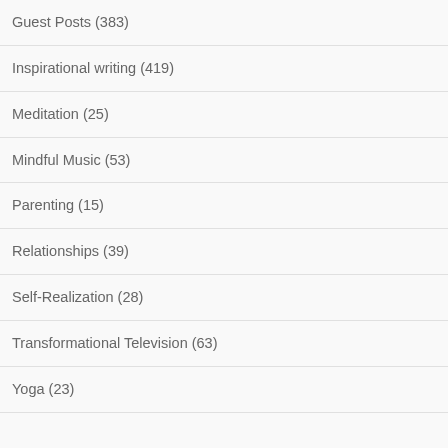Guest Posts (383)
Inspirational writing (419)
Meditation (25)
Mindful Music (53)
Parenting (15)
Relationships (39)
Self-Realization (28)
Transformational Television (63)
Yoga (23)